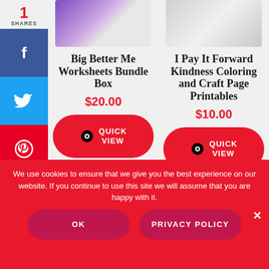[Figure (other): Social sharing sidebar with share count 1, Facebook, Twitter, Pinterest, LinkedIn, Reddit buttons]
[Figure (photo): Big Better Me Worksheets Bundle Box product thumbnail image]
Big Better Me Worksheets Bundle Box
$20.00
QUICK VIEW
[Figure (photo): I Pay It Forward Kindness Coloring and Craft Page Printables product thumbnail image]
I Pay It Forward Kindness Coloring and Craft Page Printables
$10.00
QUICK VIEW
We use cookies to ensure that we give you the best experience on our website. If you continue to use this site we will assume that you are happy with it.
OK
PRIVACY POLICY